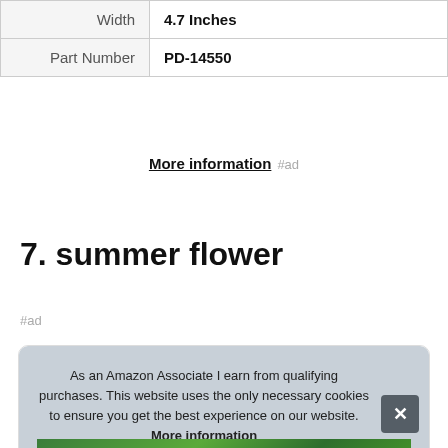| Width | 4.7 Inches |
| Part Number | PD-14550 |
More information #ad
7. summer flower
#ad
As an Amazon Associate I earn from qualifying purchases. This website uses the only necessary cookies to ensure you get the best experience on our website. More information
[Figure (photo): Green plant/flower photo at bottom of cookie consent box]